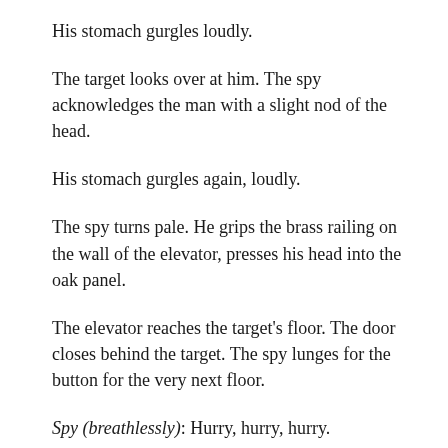His stomach gurgles loudly.
The target looks over at him. The spy acknowledges the man with a slight nod of the head.
His stomach gurgles again, loudly.
The spy turns pale. He grips the brass railing on the wall of the elevator, presses his head into the oak panel.
The elevator reaches the target's floor. The door closes behind the target. The spy lunges for the button for the very next floor.
Spy (breathlessly): Hurry, hurry, hurry.